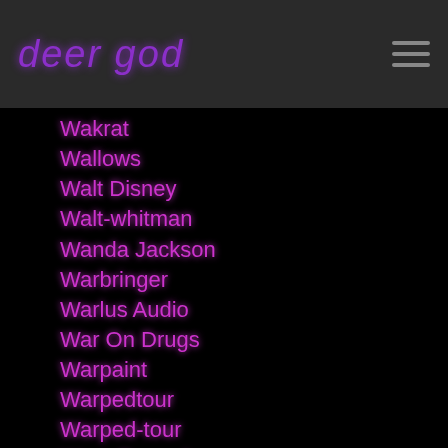deer god
Wakrat
Wallows
Walt Disney
Walt-whitman
Wanda Jackson
Warbringer
Warlus Audio
War On Drugs
Warpaint
Warpedtour
Warped-tour
Warp Records
Warren-g
Warren Huart
Warzone
Washed Out